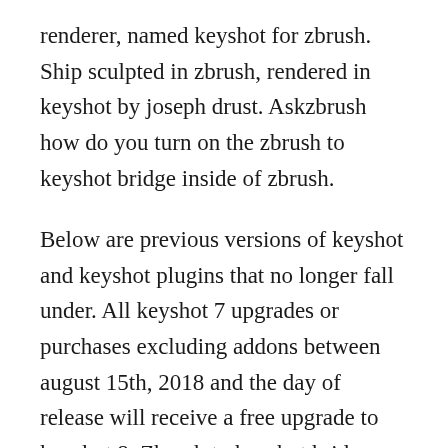renderer, named keyshot for zbrush. Ship sculpted in zbrush, rendered in keyshot by joseph drust. Askzbrush how do you turn on the zbrush to keyshot bridge inside of zbrush.
Below are previous versions of keyshot and keyshot plugins that no longer fall under. All keyshot 7 upgrades or purchases excluding addons between august 15th, 2018 and the day of release will receive a free upgrade to keyshot 8. Zbrush to keyshot bridge win single user digital download in stock 5014 items available for users who already have a